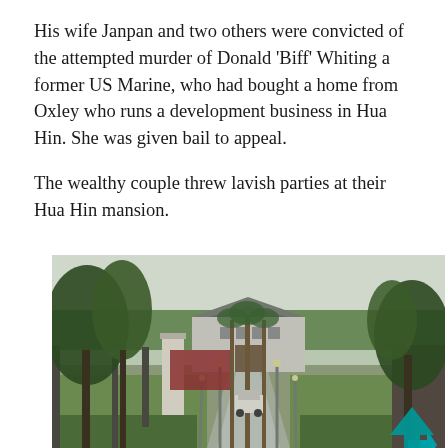His wife Janpan and two others were convicted of the attempted murder of Donald 'Biff' Whiting a former US Marine, who had bought a home from Oxley who runs a development business in Hua Hin. She was given bail to appeal.
The wealthy couple threw lavish parties at their Hua Hin mansion.
[Figure (photo): Photo of the entrance driveway leading to a large mansion in Hua Hin, flanked by tall palm trees and tropical vegetation, with a car parked near the entrance gate. A teal/cyan upward arrow is visible in the bottom-right corner.]